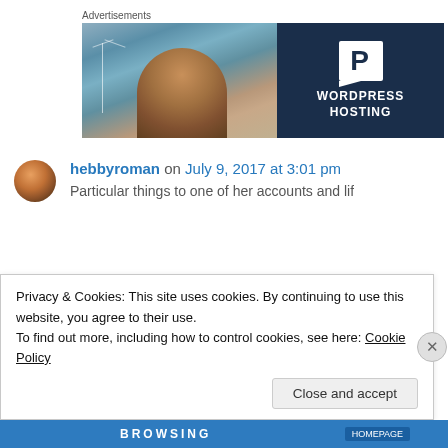Advertisements
[Figure (illustration): WordPress Hosting advertisement banner with photo of smiling woman on left and dark blue panel with WordPress P logo and text 'WORDPRESS HOSTING' on right]
hebbyroman on July 9, 2017 at 3:01 pm
Particular things to one of her accounts and life...
Privacy & Cookies: This site uses cookies. By continuing to use this website, you agree to their use.
To find out more, including how to control cookies, see here: Cookie Policy
Close and accept